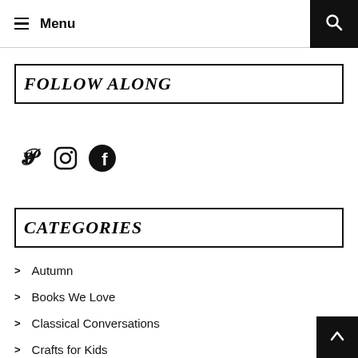Menu
FOLLOW ALONG
[Figure (illustration): Social media icons: Pinterest, Instagram, Facebook]
CATEGORIES
Autumn
Books We Love
Classical Conversations
Crafts for Kids